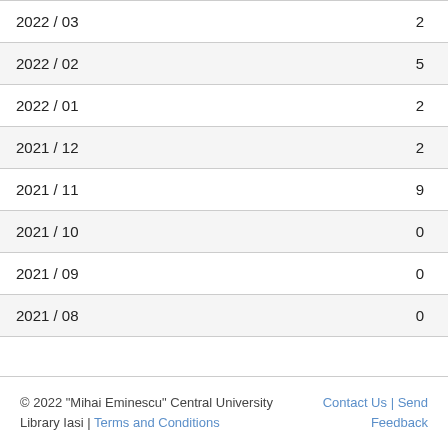|  |  |
| --- | --- |
| 2022 / 03 | 2 |
| 2022 / 02 | 5 |
| 2022 / 01 | 2 |
| 2021 / 12 | 2 |
| 2021 / 11 | 9 |
| 2021 / 10 | 0 |
| 2021 / 09 | 0 |
| 2021 / 08 | 0 |
© 2022 "Mihai Eminescu" Central University Library Iasi | Terms and Conditions | Contact Us | Send Feedback